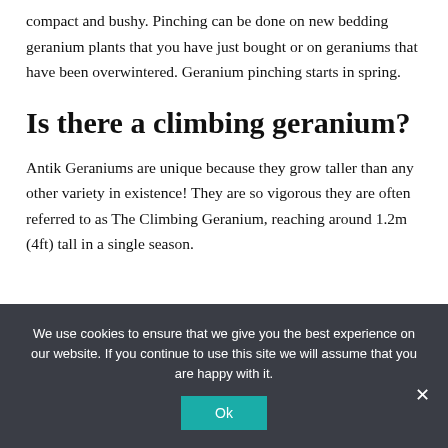compact and bushy. Pinching can be done on new bedding geranium plants that you have just bought or on geraniums that have been overwintered. Geranium pinching starts in spring.
Is there a climbing geranium?
Antik Geraniums are unique because they grow taller than any other variety in existence! They are so vigorous they are often referred to as The Climbing Geranium, reaching around 1.2m (4ft) tall in a single season.
We use cookies to ensure that we give you the best experience on our website. If you continue to use this site we will assume that you are happy with it.